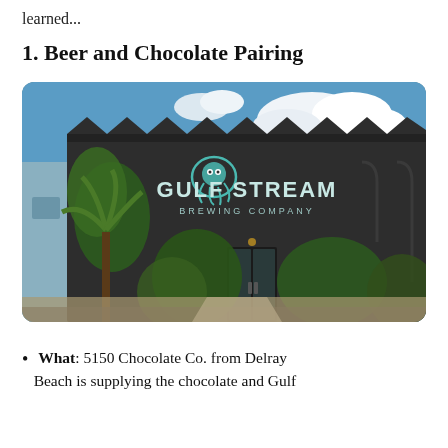learned...
1. Beer and Chocolate Pairing
[Figure (photo): Exterior photo of Gulf Stream Brewing Company building — a dark grey/black brick structure with a large teal octopus logo and 'GULF STREAM BREWING COMPANY' signage. Palm trees and lush tropical greenery in front, blue sky with white clouds above.]
What: 5150 Chocolate Co. from Delray Beach is supplying the chocolate and Gulf